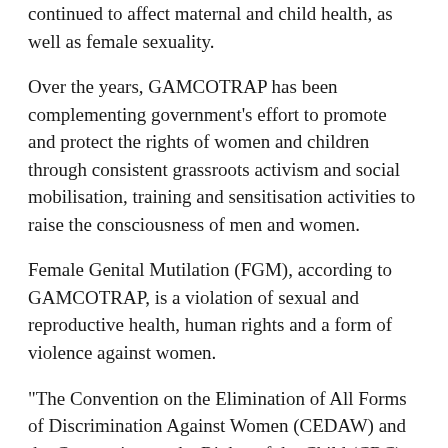continued to affect maternal and child health, as well as female sexuality.
Over the years, GAMCOTRAP has been complementing government's effort to promote and protect the rights of women and children through consistent grassroots activism and social mobilisation, training and sensitisation activities to raise the consciousness of men and women.
Female Genital Mutilation (FGM), according to GAMCOTRAP, is a violation of sexual and reproductive health, human rights and a form of violence against women.
"The Convention on the Elimination of All Forms of Discrimination Against Women (CEDAW) and the Convention on the Rights of the Child (CRC) call on states parties to eliminate harmful traditional practices, and the African Union Protocol on the Rights of Women in Africa explicitly calls on states to prohibit and condemn FGM